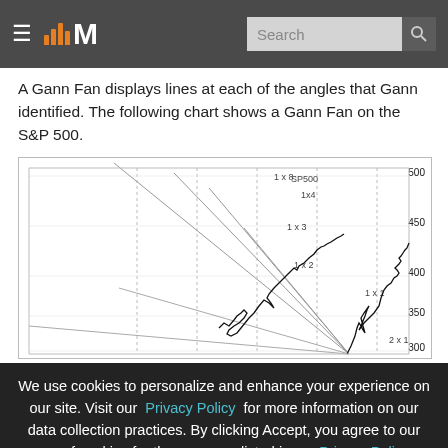M [logo] Search
A Gann Fan displays lines at each of the angles that Gann identified. The following chart shows a Gann Fan on the S&P 500.
[Figure (continuous-plot): Gann Fan chart on S&P 500 showing fan lines labeled 1x8, 1x4, 1x3, 1x2, 1x1, 2x1 radiating from a pivot point, with the S&P 500 price line overlaid. Y-axis shows values from 300 to 500.]
We use cookies to personalize and enhance your experience on our site. Visit our Privacy Policy for more information on our data collection practices. By clicking Accept, you agree to our use of cookies for the purposes listed in our Privacy Policy.
I accept